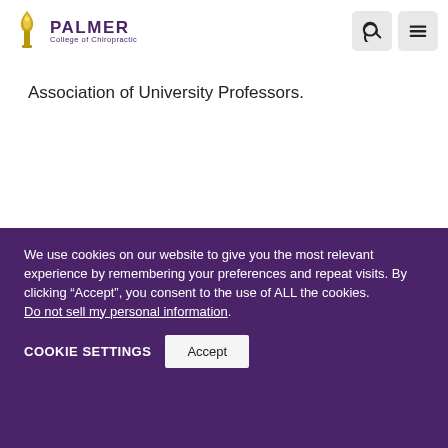[Figure (logo): Palmer College of Chiropractic logo with gold torch/flame icon and purple PALMER text]
Association of University Professors.
We use cookies on our website to give you the most relevant experience by remembering your preferences and repeat visits. By clicking “Accept”, you consent to the use of ALL the cookies. Do not sell my personal information.
COOKIE SETTINGS  Accept